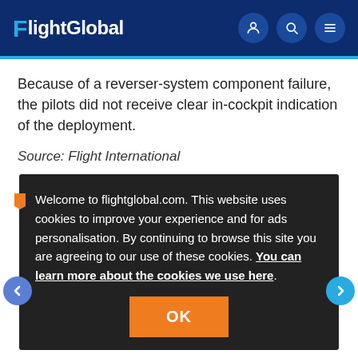FlightGlobal
Because of a reverser-system component failure, the pilots did not receive clear in-cockpit indication of the deployment.
Source: Flight International
Welcome to flightglobal.com. This website uses cookies to improve your experience and for ads personalisation. By continuing to browse this site you are agreeing to our use of these cookies. You can learn more about the cookies we use here.